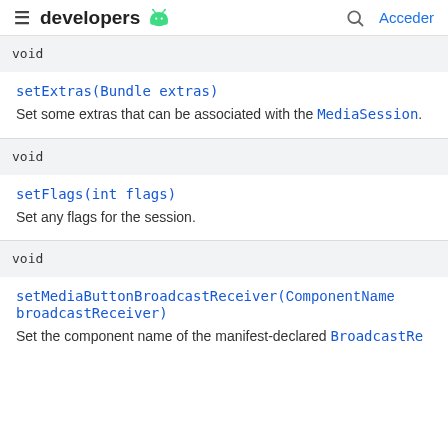developers [android logo] [search] Acceder
| Return Type | Method |
| --- | --- |
| void | setExtras(Bundle extras)
Set some extras that can be associated with the MediaSession. |
| void | setFlags(int flags)
Set any flags for the session. |
| void | setMediaButtonBroadcastReceiver(ComponentName broadcastReceiver)
Set the component name of the manifest-declared BroadcastRe... |